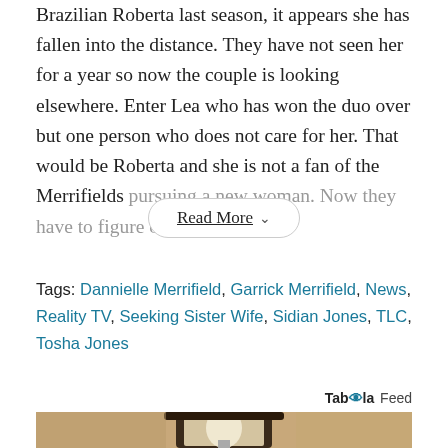Brazilian Roberta last season, it appears she has fallen into the distance. They have not seen her for a year so now the couple is looking elsewhere. Enter Lea who has won the duo over but one person who does not care for her. That would be Roberta and she is not a fan of the Merrifields pursuing a new woman. Now they have to figure out what
Read More ˅
Tags: Dannielle Merrifield, Garrick Merrifield, News, Reality TV, Seeking Sister Wife, Sidian Jones, TLC, Tosha Jones
Taboola Feed
[Figure (photo): A sepia-toned photo of an outdoor wall lantern mounted on a textured stucco wall, with a light bulb visible inside the dark metal and glass fixture.]